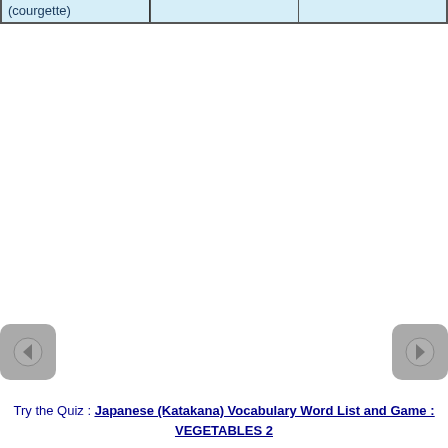| (courgette) |  |  |
Try the Quiz : Japanese (Katakana) Vocabulary Word List and Game : VEGETABLES 2